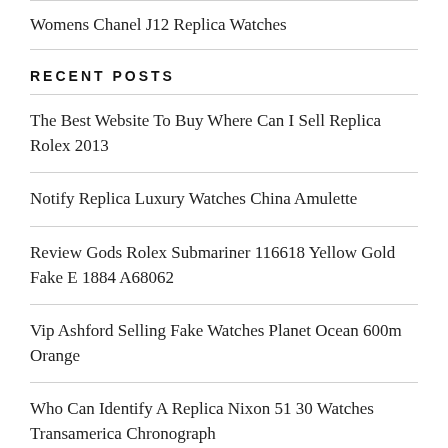Womens Chanel J12 Replica Watches
RECENT POSTS
The Best Website To Buy Where Can I Sell Replica Rolex 2013
Notify Replica Luxury Watches China Amulette
Review Gods Rolex Submariner 116618 Yellow Gold Fake E 1884 A68062
Vip Ashford Selling Fake Watches Planet Ocean 600m Orange
Who Can Identify A Replica Nixon 51 30 Watches Transamerica Chronograph